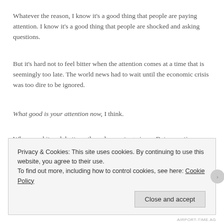Whatever the reason, I know it's a good thing that people are paying attention. I know it's a good thing that people are shocked and asking questions.
But it's hard not to feel bitter when the attention comes at a time that is seemingly too late. The world news had to wait until the economic crisis was too dire to be ignored.
What good is your attention now, I think.
When you hit rock bottom, the only way to go is up. But every time we think we're at the bottom, the floor crumbles beneath our feet as we fall deeper.
W...
Privacy & Cookies: This site uses cookies. By continuing to use this website, you agree to their use.
To find out more, including how to control cookies, see here: Cookie Policy
AIRPORT-TIME.AG